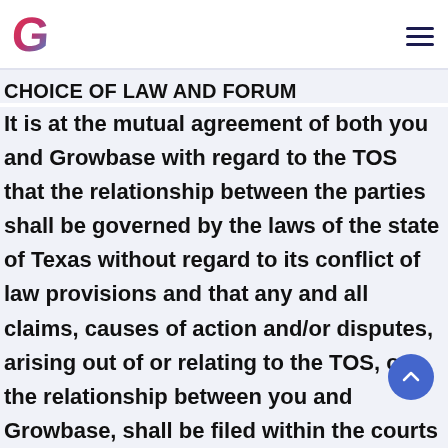Growbase logo and navigation menu
CHOICE OF LAW AND FORUM
It is at the mutual agreement of both you and Growbase with regard to the TOS that the relationship between the parties shall be governed by the laws of the state of Texas without regard to its conflict of law provisions and that any and all claims, causes of action and/or disputes, arising out of or relating to the TOS, or the relationship between you and Growbase, shall be filed within the courts